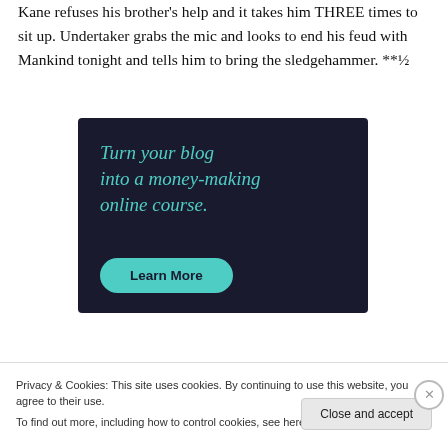Kane refuses his brother's help and it takes him THREE times to sit up. Undertaker grabs the mic and looks to end his feud with Mankind tonight and tells him to bring the sledgehammer. **½
[Figure (infographic): Dark navy advertisement banner: 'Turn your blog into a money-making online course.' with a teal 'Learn More' button.]
Privacy & Cookies: This site uses cookies. By continuing to use this website, you agree to their use.
To find out more, including how to control cookies, see here: Cookie Policy